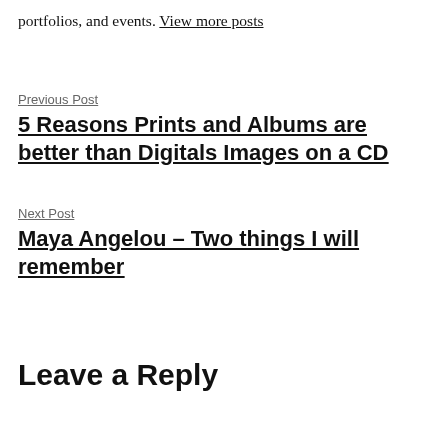portfolios, and events. View more posts
Previous Post
5 Reasons Prints and Albums are better than Digitals Images on a CD
Next Post
Maya Angelou – Two things I will remember
Leave a Reply